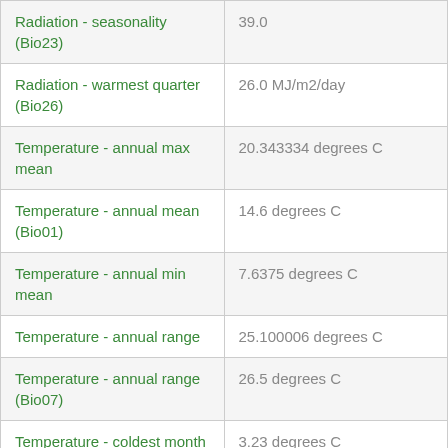| Variable | Value |
| --- | --- |
| Radiation - seasonality (Bio23) | 39.0 |
| Radiation - warmest quarter (Bio26) | 26.0 MJ/m2/day |
| Temperature - annual max mean | 20.343334 degrees C |
| Temperature - annual mean (Bio01) | 14.6 degrees C |
| Temperature - annual min mean | 7.6375 degrees C |
| Temperature - annual range | 25.100006 degrees C |
| Temperature - annual range (Bio07) | 26.5 degrees C |
| Temperature - coldest month min | 3.23 degrees C |
| Temperature - coldest period min (Bio06) | 3.4 degrees C |
| Temperature - coldest quarter | 8.7 degrees C |